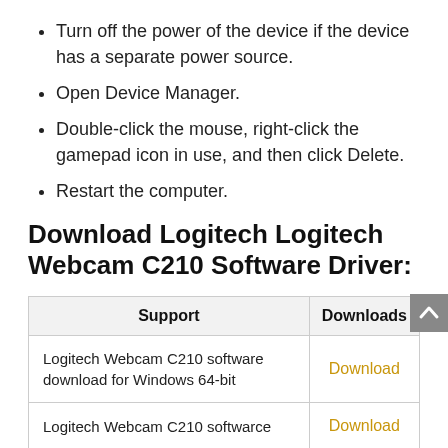Turn off the power of the device if the device has a separate power source.
Open Device Manager.
Double-click the mouse, right-click the gamepad icon in use, and then click Delete.
Restart the computer.
Download Logitech Logitech Webcam C210 Software Driver:
| Support | Downloads |
| --- | --- |
| Logitech Webcam C210 software download for Windows 64-bit | Download |
| Logitech Webcam C210 softwarce | Download |